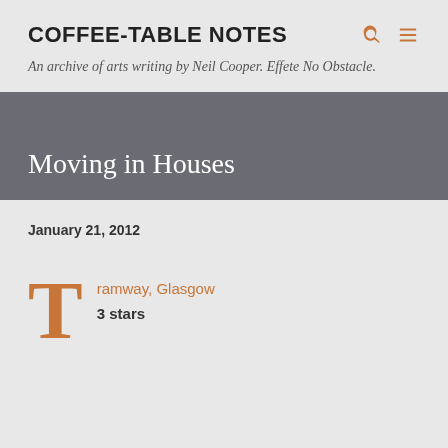COFFEE-TABLE NOTES
An archive of arts writing by Neil Cooper. Effete No Obstacle.
Moving in Houses
January 21, 2012
Tramway, Glasgow
3 stars